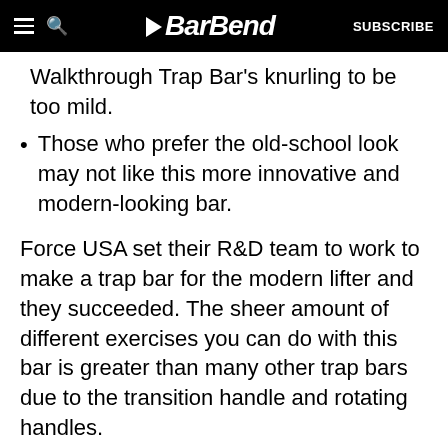BarBend | SUBSCRIBE
Walkthrough Trap Bar's knurling to be too mild.
Those who prefer the old-school look may not like this more innovative and modern-looking bar.
Force USA set their R&D team to work to make a trap bar for the modern lifter and they succeeded. The sheer amount of different exercises you can do with this bar is greater than many other trap bars due to the transition handle and rotating handles.